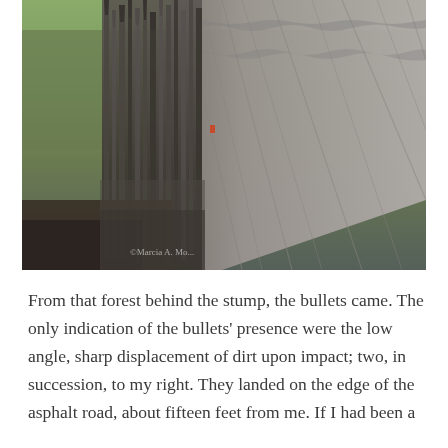[Figure (photo): Close-up photograph of a weathered, decaying wooden stump or log with rough, splintered gray wood texture and a forest background with green foliage. A small red object is visible among the splinters. A watermark reads '©Marcia A. Mo...' in the lower left.]
From that forest behind the stump, the bullets came. The only indication of the bullets' presence were the low angle, sharp displacement of dirt upon impact; two, in succession, to my right. They landed on the edge of the asphalt road, about fifteen feet from me. If I had been a